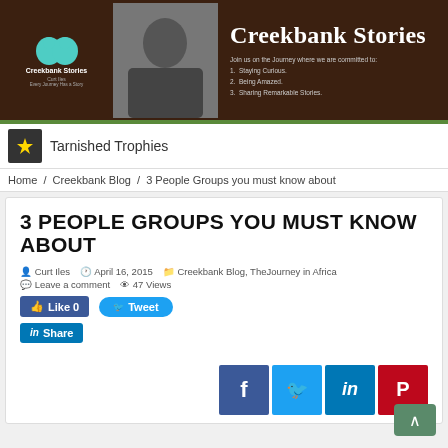[Figure (logo): Creekbank Stories website header banner with logo, photo of author, and site title]
Tarnished Trophies
Home / Creekbank Blog / 3 People Groups you must know about
3 PEOPLE GROUPS YOU MUST KNOW ABOUT
Curt Iles   April 16, 2015   Creekbank Blog, TheJourney in Africa   Leave a comment   47 Views
[Figure (infographic): Social sharing buttons: Like 0, Tweet, Share (LinkedIn), and bottom row: Facebook, Twitter, LinkedIn, Pinterest icons]